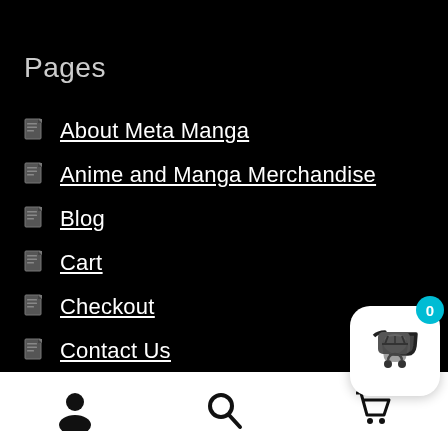Pages
About Meta Manga
Anime and Manga Merchandise
Blog
Cart
Checkout
Contact Us
Information
[Figure (screenshot): Mobile app bottom navigation bar with user icon, search icon, and cart icon. A teal badge showing 0 overlays a shopping basket icon in a white rounded card at bottom right.]